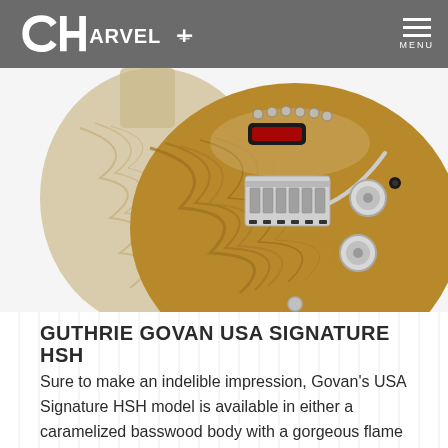Charvel — MENU
[Figure (photo): Charvel Guthrie Govan USA Signature HSH electric guitar body showing caramelized ash wood grain finish with chrome hardware, floyd rose bridge, and knobs]
GUTHRIE GOVAN USA SIGNATURE HSH
Sure to make an indelible impression, Govan's USA Signature HSH model is available in either a caramelized basswood body with a gorgeous flame maple top or a caramelized ash body. Other unique features include Luminlay side-dots